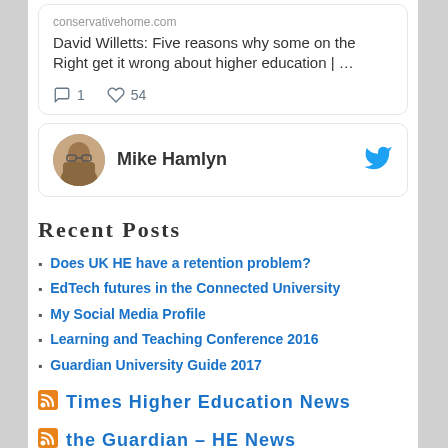conservativehome.com
David Willetts: Five reasons why some on the Right get it wrong about higher education | …
1  54
Mike Hamlyn
Recent Posts
Does UK HE have a retention problem?
EdTech futures in the Connected University
My Social Media Profile
Learning and Teaching Conference 2016
Guardian University Guide 2017
Times Higher Education News
the Guardian – HE News
Map may prove 'Welsh Atlantis' rooted in fact, say academics